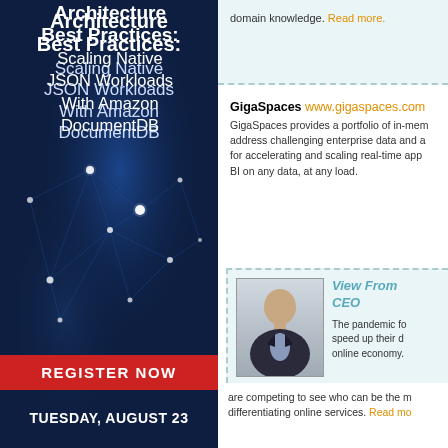Architecture Best Practices: Scaling Native JSON Workloads With Amazon DocumentDB
REGISTER NOW
TUESDAY, AUGUST 23
domain knowledge. Read more.
GigaSpaces www.gigaspaces.com
GigaSpaces provides a portfolio of in-memory solutions to address challenging enterprise data and applications needs for accelerating and scaling real-time applications, and BI on any data, at any load.
View From CEO
[Figure (photo): Headshot of a bald business executive in a dark suit, professional photo against a neutral background]
The pandemic forced companies to speed up their digital transformation. The online economy is booming, and companies are competing to see who can be the most differentiating online services. Read more.